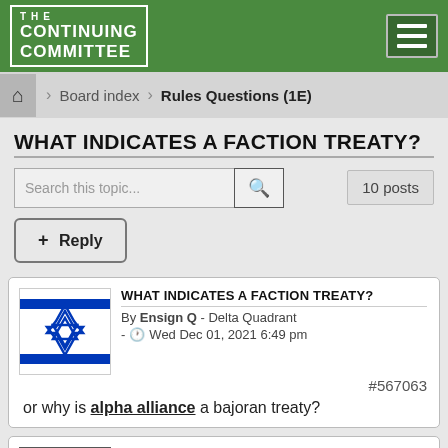THE CONTINUING COMMITTEE
Board index > Rules Questions (1E)
WHAT INDICATES A FACTION TREATY?
Search this topic...
10 posts
+ Reply
WHAT INDICATES A FACTION TREATY?
By Ensign Q - Delta Quadrant - Wed Dec 01, 2021 6:49 pm
#567063
or why is alpha alliance a bajoran treaty?
RE: WHAT INDICATES A FACTION TREATY?
By Orbin (James Monsebroten) - Delta Quadrant